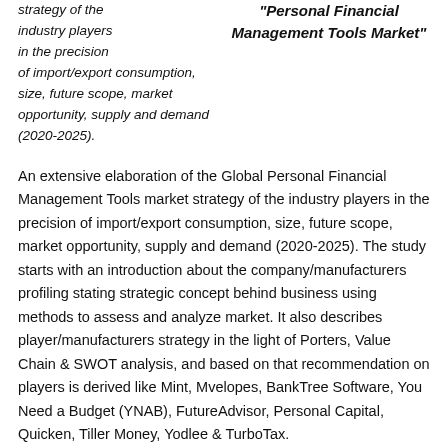strategy of the industry players in the precision of import/export consumption, size, future scope, market opportunity, supply and demand (2020-2025).
"Personal Financial Management Tools Market"
An extensive elaboration of the Global Personal Financial Management Tools market strategy of the industry players in the precision of import/export consumption, size, future scope, market opportunity, supply and demand (2020-2025). The study starts with an introduction about the company/manufacturers profiling stating strategic concept behind business using methods to assess and analyze market. It also describes player/manufacturers strategy in the light of Porters, Value Chain & SWOT analysis, and based on that recommendation on players is derived like Mint, Mvelopes, BankTree Software, You Need a Budget (YNAB), FutureAdvisor, Personal Capital, Quicken, Tiller Money, Yodlee & TurboTax.